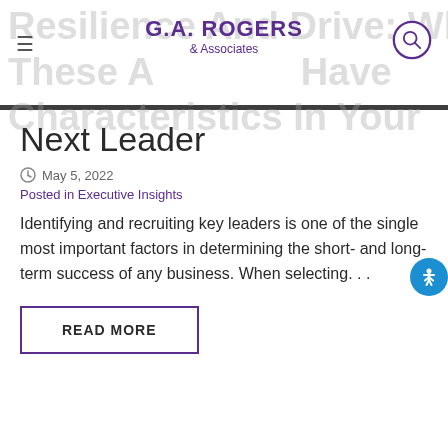G.A. ROGERS & Associates
Next Leader
May 5, 2022
Posted in Executive Insights
Identifying and recruiting key leaders is one of the single most important factors in determining the short- and long-term success of any business. When selecting. . .
READ MORE